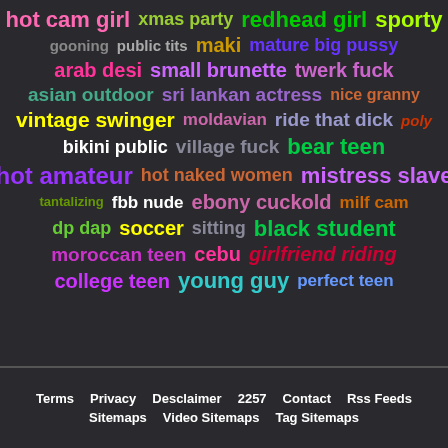[Figure (other): Tag cloud with colorful keyword tags on dark background including terms like hot cam girl, xmas party, redhead girl, sporty, gooning, public tits, maki, mature big pussy, arab desi, small brunette, twerk fuck, asian outdoor, sri lankan actress, nice granny, vintage swinger, moldavian, ride that dick, poly, bikini public, village fuck, bear teen, hot amateur, hot naked women, mistress slave, tantalizing, fbb nude, ebony cuckold, milf cam, dp dap, soccer, sitting, black student, moroccan teen, cebu, girlfriend riding, college teen, young guy, perfect teen]
Terms  Privacy  Desclaimer  2257  Contact  Rss Feeds  Sitemaps  Video Sitemaps  Tag Sitemaps